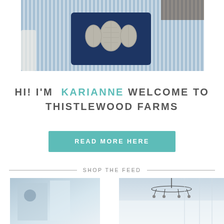[Figure (photo): Blue and white striped armchair with a navy decorative pillow featuring white leaf/botanical embroidery pattern]
HI! I'M KARIANNE WELCOME TO THISTLEWOOD FARMS
READ MORE HERE
SHOP THE FEED
[Figure (photo): Two small feed/shop photos at the bottom: left shows interior room scene, right shows chandelier and bright room]
[Figure (photo): Right feed photo showing chandelier and bright white room interior]